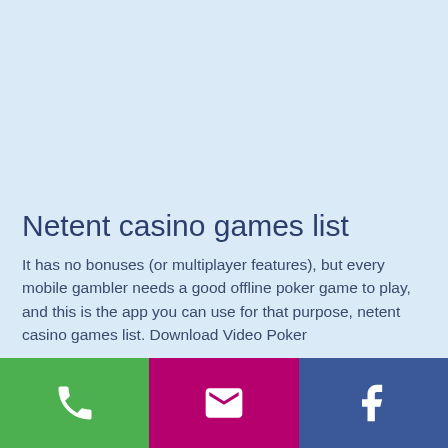Netent casino games list
It has no bonuses (or multiplayer features), but every mobile gambler needs a good offline poker game to play, and this is the app you can use for that purpose, netent casino games list. Download Video Poker
[Figure (infographic): Footer navigation bar with three icon buttons: green phone/call button, magenta/pink email/envelope button, and dark blue Facebook logo button]